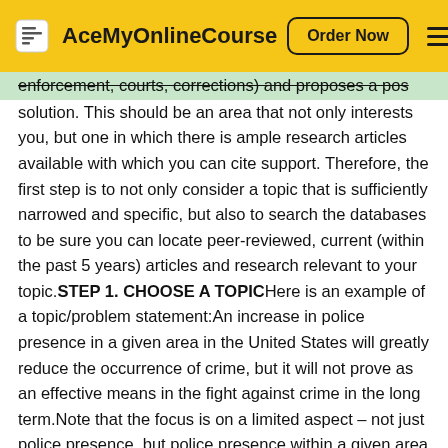AceMyOnlineCourse | Order Now
enforcement, courts, corrections) and proposes a possible solution. This should be an area that not only interests you, but one in which there is ample research articles available with which you can cite support. Therefore, the first step is to not only consider a topic that is sufficiently narrowed and specific, but also to search the databases to be sure you can locate peer-reviewed, current (within the past 5 years) articles and research relevant to your topic.STEP 1. CHOOSE A TOPICHere is an example of a topic/problem statement:An increase in police presence in a given area in the United States will greatly reduce the occurrence of crime, but it will not prove as an effective means in the fight against crime in the long term.Note that the focus is on a limited aspect – not just police presence, but police presence within a given area regarding the occurrence of crime. The problem is the issue of needing to fight/reduce crime, the proposed solution is increased police presence.Let’s suppose your interest lies in the topic of violent crime – – that is too broad, so narrow to victims of violent crime. However, that is still quite broad, so narrow it further to state